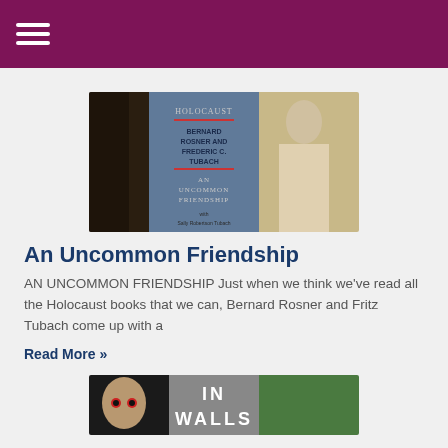Menu navigation bar with hamburger icon
[Figure (photo): Book cover of 'An Uncommon Friendship' showing authors Bernard Rosner and Frederic C. Tubach]
An Uncommon Friendship
AN UNCOMMON FRIENDSHIP Just when we think we've read all the Holocaust books that we can, Bernard Rosner and Fritz Tubach come up with a
Read More »
[Figure (photo): Partial view of second book cover showing text 'IN WALLS']